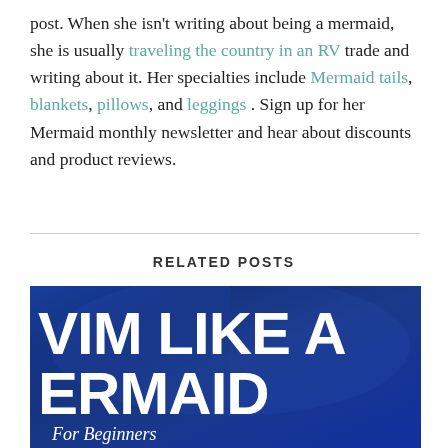post. When she isn't writing about being a mermaid, she is usually traveling the country in an RV trade and writing about it. Her specialties include Mermaid tails, blankets, pillows, and leggings . Sign up for her Mermaid monthly newsletter and hear about discounts and product reviews.
RELATED POSTS
[Figure (photo): A dark blue underwater-themed image with large white bold text reading 'VIM LIKE A ERMAID' and italic subtitle 'For Beginners']